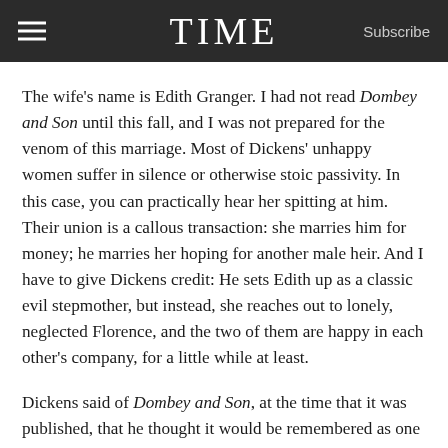TIME  Subscribe
The wife's name is Edith Granger. I had not read Dombey and Son until this fall, and I was not prepared for the venom of this marriage. Most of Dickens' unhappy women suffer in silence or otherwise stoic passivity. In this case, you can practically hear her spitting at him. Their union is a callous transaction: she marries him for money; he marries her hoping for another male heir. And I have to give Dickens credit: He sets Edith up as a classic evil stepmother, but instead, she reaches out to lonely, neglected Florence, and the two of them are happy in each other's company, for a little while at least.
Dickens said of Dombey and Son, at the time that it was published, that he thought it would be remembered as one of his best works. It was only his seventh novel, and he was underestimating himself. Still, there are two transformative forces in Dombey that give it a